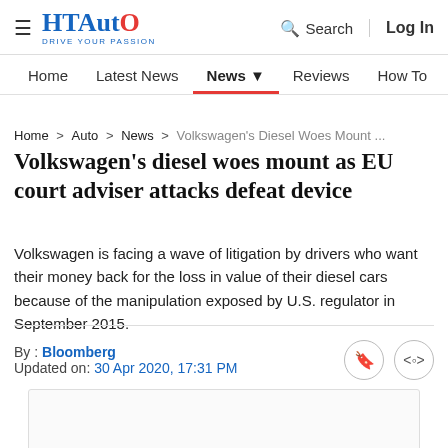HT Auto — Drive Your Passion | Search | Log In
Home | Latest News | News | Reviews | How To | Find Ve...
Home > Auto > News > Volkswagen's Diesel Woes Mount ...
Volkswagen's diesel woes mount as EU court adviser attacks defeat device
Volkswagen is facing a wave of litigation by drivers who want their money back for the loss in value of their diesel cars because of the manipulation exposed by U.S. regulator in September 2015.
By : Bloomberg
Updated on: 30 Apr 2020, 17:31 PM
[Figure (photo): Article image placeholder]